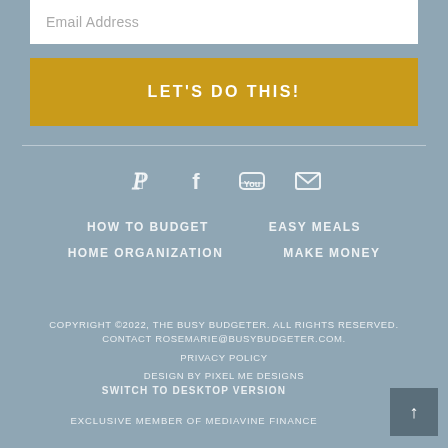Email Address
LET'S DO THIS!
[Figure (infographic): Social media icons: Pinterest, Facebook, YouTube, Email]
HOW TO BUDGET
EASY MEALS
HOME ORGANIZATION
MAKE MONEY
COPYRIGHT ©2022, THE BUSY BUDGETER. ALL RIGHTS RESERVED. CONTACT ROSEMARIE@BUSYBUDGETER.COM. PRIVACY POLICY
DESIGN BY PIXEL ME DESIGNS
SWITCH TO DESKTOP VERSION
EXCLUSIVE MEMBER OF MEDIAVINE FINANCE